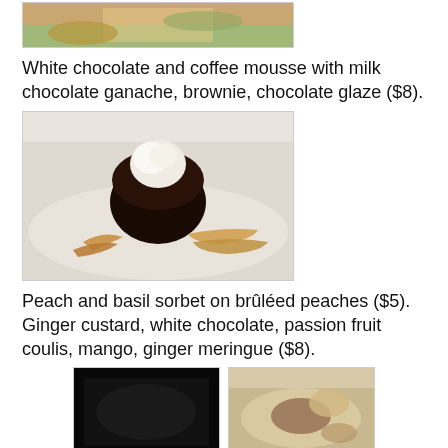[Figure (photo): Partial food photo at top of page, cropped]
White chocolate and coffee mousse with milk chocolate ganache, brownie, chocolate glaze ($8).
[Figure (photo): Chocolate mousse dessert with caramel sauce on a white plate]
Peach and basil sorbet on brûléed peaches ($5). Ginger custard, white chocolate, passion fruit coulis, mango, ginger meringue ($8).
[Figure (photo): Two dessert photos side by side: left is dark/black dish, right is a plated dessert]